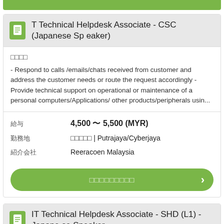[Figure (other): Green bar at top of page (partial card from previous listing)]
T Technical Helpdesk Associate - CSC (Japanese Speaker)
□□□□
- Respond to calls /emails/chats received from customer and address the customer needs or route the request accordingly - Provide technical support on operational or maintenance of a personal computers/Applications/ other products/peripherals usin...
給与: 4,500 〜 5,500 (MYR)
勤務地: □□□□□ | Putrajaya/Cyberjaya
紹介会社: Reeracoen Malaysia
□□□□□□□□□
IT Technical Helpdesk Associate - SHD (L1) - Japanese Speaker